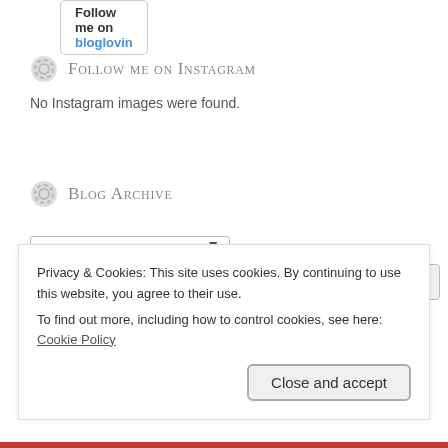[Figure (other): Follow me on bloglovin button with bold text and blue brand name]
Follow me on Instagram
No Instagram images were found.
Blog Archive
Select Month (dropdown)
Recent Posts
Privacy & Cookies: This site uses cookies. By continuing to use this website, you agree to their use.
To find out more, including how to control cookies, see here: Cookie Policy
Close and accept